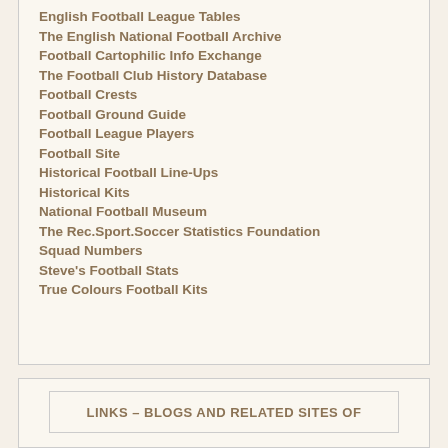English Football League Tables
The English National Football Archive
Football Cartophilic Info Exchange
The Football Club History Database
Football Crests
Football Ground Guide
Football League Players
Football Site
Historical Football Line-Ups
Historical Kits
National Football Museum
The Rec.Sport.Soccer Statistics Foundation
Squad Numbers
Steve's Football Stats
True Colours Football Kits
LINKS – BLOGS AND RELATED SITES OF